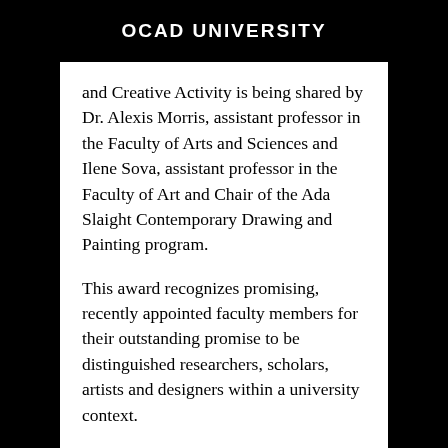OCAD UNIVERSITY
and Creative Activity is being shared by Dr. Alexis Morris, assistant professor in the Faculty of Arts and Sciences and Ilene Sova, assistant professor in the Faculty of Art and Chair of the Ada Slaight Contemporary Drawing and Painting program.
This award recognizes promising, recently appointed faculty members for their outstanding promise to be distinguished researchers, scholars, artists and designers within a university context.
OCAD University Award for Distinguished Research